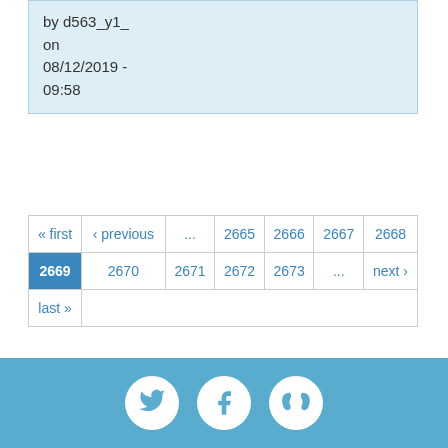by d563_y1_
on
08/12/2019 -
09:58
| « first | ‹ previous | ... | 2665 | 2666 | 2667 | 2668 |
| 2669 (active) | 2670 | 2671 | 2672 | 2673 | ... | next › |
| last » |  |  |  |  |  |  |
[Figure (logo): Footer with Twitter, Facebook, and kidney/medical organization social media icons on blue background]